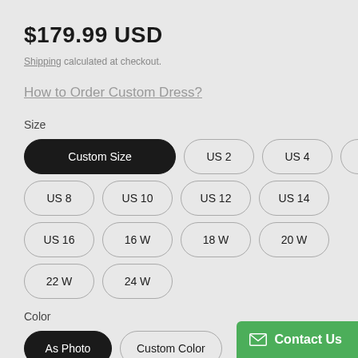$179.99 USD
Shipping calculated at checkout.
How to Order Custom Dress?
Size
Custom Size (selected)
US 2
US 4
US 6
US 8
US 10
US 12
US 14
US 16
16 W
18 W
20 W
22 W
24 W
Color
As Photo (selected)
Custom Color
Contact Us